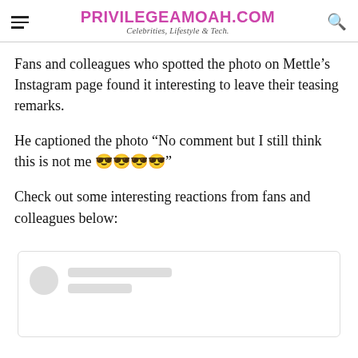PRIVILEGEAMOAH.COM — Celebrities, Lifestyle & Tech.
Fans and colleagues who spotted the photo on Mettle’s Instagram page found it interesting to leave their teasing remarks.
He captioned the photo “No comment but I still think this is not me 😎😎😎😎”
Check out some interesting reactions from fans and colleagues below:
[Figure (screenshot): Blurred/loading social media comment screenshot with avatar circle and grey text placeholder bars]